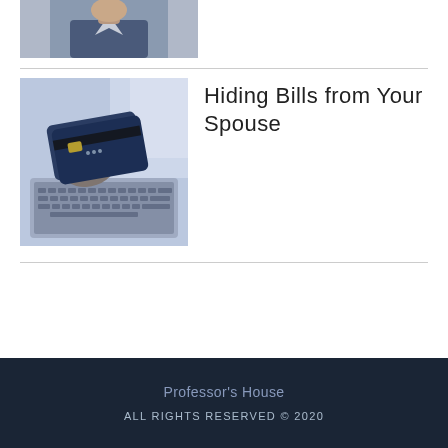[Figure (photo): Partial photo of a man in a suit, cropped at the bottom — only the lower face/chin and upper torso visible.]
[Figure (photo): A hand holding a credit card over a laptop keyboard, with a blurred bright window background. Blue-toned photograph.]
Hiding Bills from Your Spouse
Professor's House
ALL RIGHTS RESERVED © 2020